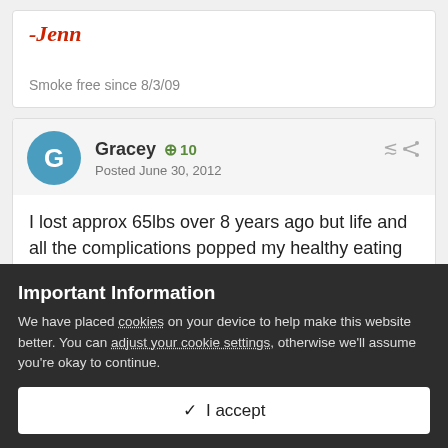-Jenn
Smoke free since 8/3/09
Gracey  +10  Posted June 30, 2012
I lost approx 65lbs over 8 years ago but life and all the complications popped my healthy eating lifestyle balloon......I've gained 35 of the 60 lbs back and feel lousy...I'm going to get things going again in the right
Important Information
We have placed cookies on your device to help make this website better. You can adjust your cookie settings, otherwise we'll assume you're okay to continue.
✓  I accept